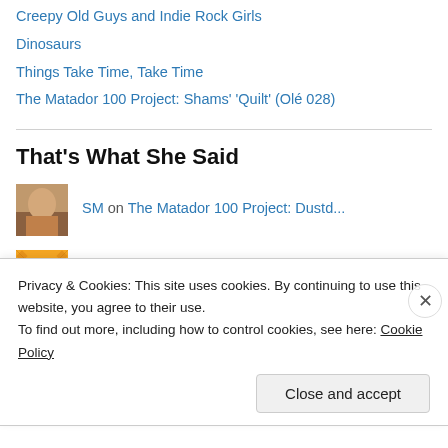Creepy Old Guys and Indie Rock Girls
Dinosaurs
Things Take Time, Take Time
The Matador 100 Project: Shams' 'Quilt' (Olé 028)
That's What She Said
SM on The Matador 100 Project: Dustd...
Bill on Things Take Time, Take Time
Martha S on The Ten Best Albums of 2010
Privacy & Cookies: This site uses cookies. By continuing to use this website, you agree to their use.
To find out more, including how to control cookies, see here: Cookie Policy
Close and accept